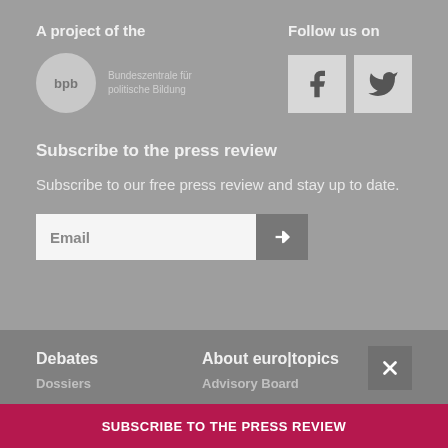A project of the
[Figure (logo): bpb Bundeszentrale für politische Bildung logo — circular grey logo with 'bpb' text and name text beside it]
Follow us on
[Figure (illustration): Facebook and Twitter social media icon boxes]
Subscribe to the press review
Subscribe to our free press review and stay up to date.
Email
Debates
About euro|topics
Dossiers
Advisory Board
SUBSCRIBE TO THE PRESS REVIEW